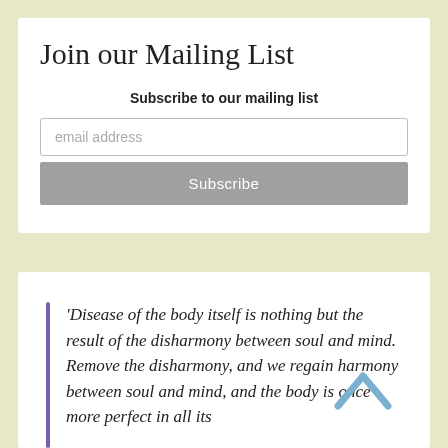Join our Mailing List
Subscribe to our mailing list
email address
Subscribe
'Disease of the body itself is nothing but the result of the disharmony between soul and mind. Remove the disharmony, and we regain harmony between soul and mind, and the body is once more perfect in all its